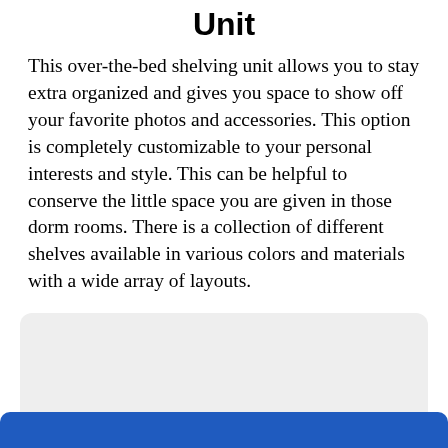Unit
This over-the-bed shelving unit allows you to stay extra organized and gives you space to show off your favorite photos and accessories. This option is completely customizable to your personal interests and style. This can be helpful to conserve the little space you are given in those dorm rooms. There is a collection of different shelves available in various colors and materials with a wide array of layouts.
[Figure (other): Gray rounded rectangle placeholder box, with a blue button strip visible at the bottom edge of the page.]